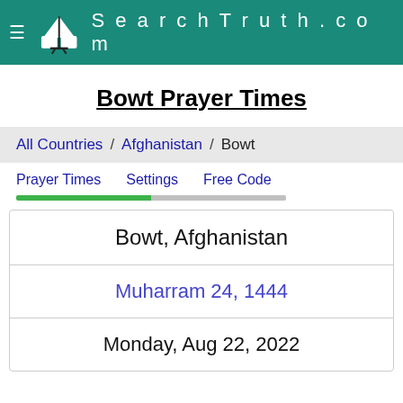SearchTruth.com
Bowt Prayer Times
All Countries / Afghanistan / Bowt
Prayer Times   Settings   Free Code
| Bowt, Afghanistan |
| Muharram 24, 1444 |
| Monday, Aug 22, 2022 |